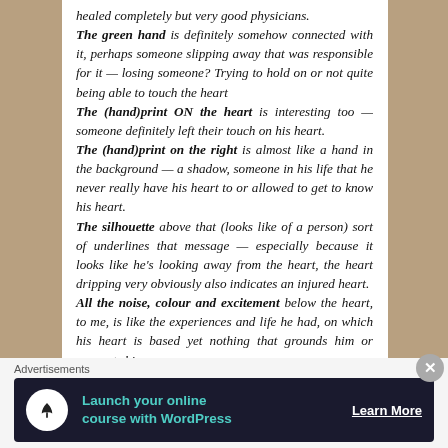healed completely but very good physicians. The green hand is definitely somehow connected with it, perhaps someone slipping away that was responsible for it — losing someone? Trying to hold on or not quite being able to touch the heart The (hand)print ON the heart is interesting too — someone definitely left their touch on his heart. The (hand)print on the right is almost like a hand in the background — a shadow, someone in his life that he never really have his heart to or allowed to get to know his heart. The silhouette above that (looks like of a person) sort of underlines that message — especially because it looks like he's looking away from the heart, the heart dripping very obviously also indicates an injured heart. All the noise, colour and excitement below the heart, to me, is like the experiences and life he had, on which his heart is based yet nothing that grounds him or supports his
Advertisements
[Figure (screenshot): Advertisement banner: dark background with tree/person icon, text 'Launch your online course with WordPress' in teal, and 'Learn More' button in white with underline.]